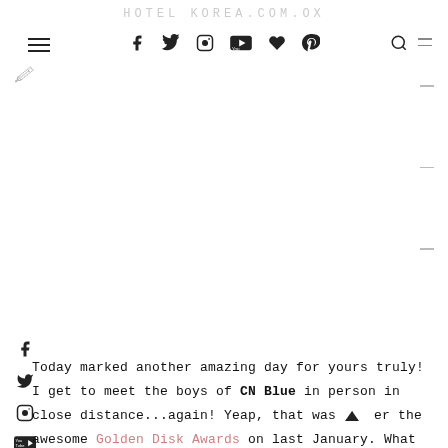HOTEL KOREA.COM.OX
[Figure (screenshot): Navigation bar with hamburger menu on left, social media icons (Facebook, Twitter, Instagram, YouTube, heart/Bloglovin, Pinterest) in center, search icon and menu lines on right. Site title 'HOTEL KOREA.COM.OX' faintly at top.]
[Figure (screenshot): Left sidebar with social media icons: Facebook, Twitter, Instagram, YouTube, heart/Bloglovin, Pinterest arranged vertically]
Today marked another amazing day for yours truly! I get to meet the boys of CN Blue in person in close distance...again! Yeap, that was after the awesome Golden Disk Awards on last January. What kept me in love with the boys definitely because of